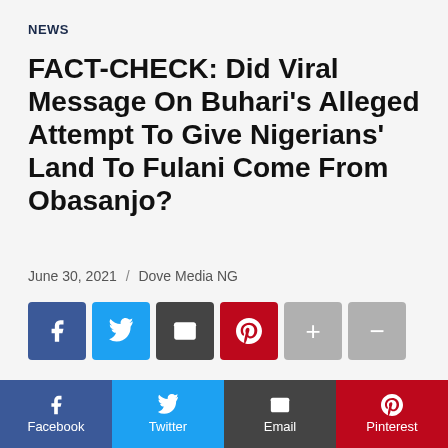NEWS
FACT-CHECK: Did Viral Message On Buhari’s Alleged Attempt To Give Nigerians’ Land To Fulani Come From Obasanjo?
June 30, 2021  /  Dove Media NG
[Figure (infographic): Social media share buttons: Facebook (blue), Twitter (cyan), Email (dark gray), Pinterest (red), plus and minus (gray)]
Full Text
The Nigerian social media house has been used a number of occasions to share pretend information, incite violence, and create concern within the minds
[Figure (infographic): Bottom social share bar with Facebook, Twitter, Email, Pinterest buttons]